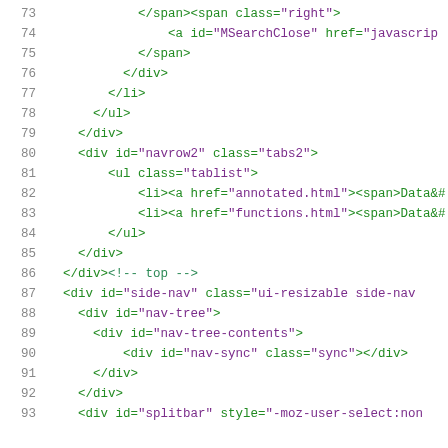Code listing lines 73-93 showing HTML source code
73    </span><span class="right">
74        <a id="MSearchClose" href="javascrip
75        </span>
76      </div>
77    </li>
78    </ul>
79  </div>
80  <div id="navrow2" class="tabs2">
81      <ul class="tablist">
82          <li><a href="annotated.html"><span>Data&#.
83          <li><a href="functions.html"><span>Data&#.
84          </ul>
85  </div>
86  </div><!-- top -->
87  <div id="side-nav" class="ui-resizable side-nav
88    <div id="nav-tree">
89      <div id="nav-tree-contents">
90          <div id="nav-sync" class="sync"></div>
91      </div>
92    </div>
93  <div id="splitbar" style="-moz-user-select:non